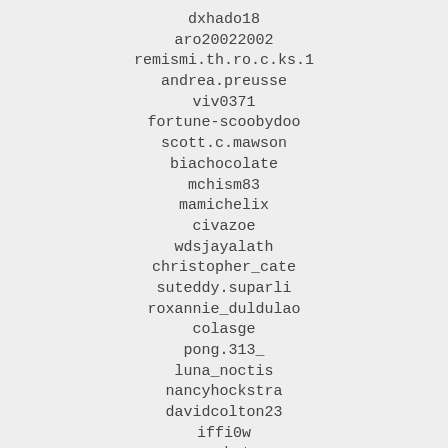dxhado18
aro20022002
remismi.th.ro.c.ks.1
andrea.preusse
viv0371
fortune-scoobydoo
scott.c.mawson
biachocolate
mchism83
mamichelix
civazoe
wdsjayalath
christopher_cate
suteddy.suparli
roxannie_duldulao
colasge
pong.313_
luna_noctis
nancyhockstra
davidcolton23
iffi0w
musaokutan
vrunda.patil64
patrissia39